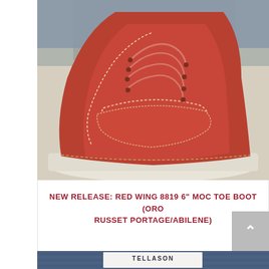[Figure (photo): Close-up photo of a Red Wing 8819 6-inch Moc Toe Boot in Oro Russet Portage/Abilene leather, showing the toe box with moc stitching, laces, and white sole. The wearer has grey wool socks visible above the boot.]
NEW RELEASE: RED WING 8819 6" MOC TOE BOOT (ORO RUSSET PORTAGE/ABILENE)
[Figure (photo): Close-up photo of Tellason denim jeans fabric, showing dark indigo denim with a white label reading TELLASON and partially visible text below.]